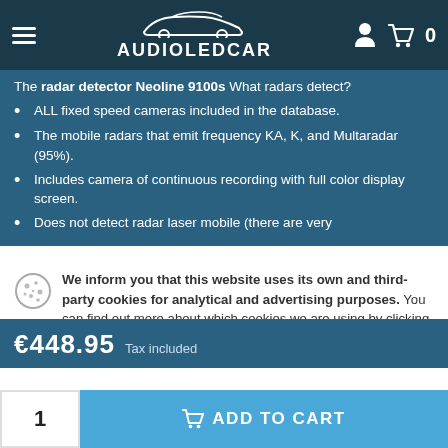AUDIOLEDCAR
The radar detector Neoline 9100s What radars detect?
ALL fixed speed cameras included in the database.
The mobile radars that emit frequency KA, K, and Multaradar (95%).
Includes camera of continuous recording with full color display screen.
Does not detect radar laser mobile (there are very
We inform you that this website uses its own and third-party cookies for analytical and advertising purposes. You can find out more about which cookies we are using by clicking on Cookie Settings or by visiting our cookie policy.
€448.95 Tax included
1  ADD TO CART